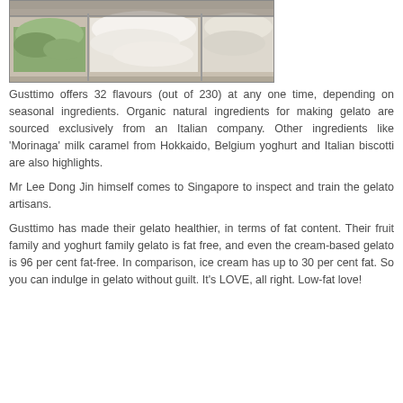[Figure (photo): Top-down view of a gelato display case showing multiple flavors including white cream and green pistachio gelato in metal trays behind glass]
Gusttimo offers 32 flavours (out of 230) at any one time, depending on seasonal ingredients. Organic natural ingredients for making gelato are sourced exclusively from an Italian company. Other ingredients like 'Morinaga' milk caramel from Hokkaido, Belgium yoghurt and Italian biscotti are also highlights.
Mr Lee Dong Jin himself comes to Singapore to inspect and train the gelato artisans.
Gusttimo has made their gelato healthier, in terms of fat content. Their fruit family and yoghurt family gelato is fat free, and even the cream-based gelato is 96 per cent fat-free. In comparison, ice cream has up to 30 per cent fat. So you can indulge in gelato without guilt. It's LOVE, all right. Low-fat love!